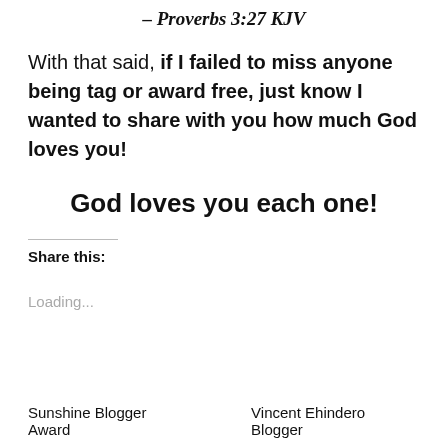– Proverbs 3:27 KJV
With that said, if I failed to miss anyone being tag or award free, just know I wanted to share with you how much God loves you!
God loves you each one!
Share this:
Loading...
Sunshine Blogger Award   Vincent Ehindero Blogger